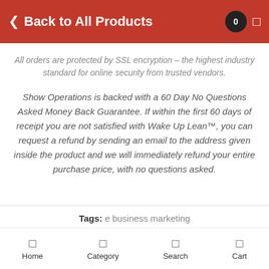Back to All Products
All orders are protected by SSL encryption – the highest industry standard for online security from trusted vendors.
Show Operations is backed with a 60 Day No Questions Asked Money Back Guarantee. If within the first 60 days of receipt you are not satisfied with Wake Up Lean™, you can request a refund by sending an email to the address given inside the product and we will immediately refund your entire purchase price, with no questions asked.
Tags: e business marketing
Home  Category  Search  Cart